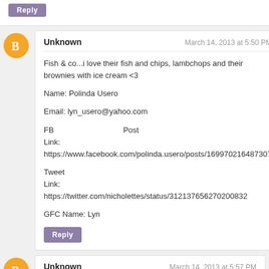Reply
Unknown — March 14, 2013 at 5:50 PM
Fish & co...i love their fish and chips, lambchops and their brownies with ice cream <3

Name: Polinda Usero

Email: lyn_usero@yahoo.com

FB Post Link: https://www.facebook.com/polinda.usero/posts/169970216487307

Tweet Link: https://twitter.com/nicholettes/status/312137656270200832

GFC Name: Lyn
Reply
Unknown — March 14, 2013 at 5:57 PM